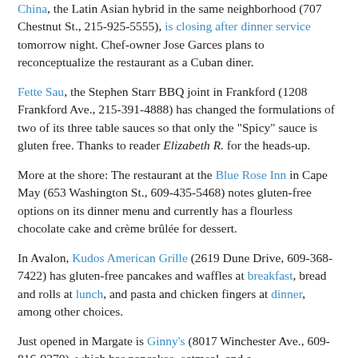China, the Latin Asian hybrid in the same neighborhood (707 Chestnut St., 215-925-5555), is closing after dinner service tomorrow night. Chef-owner Jose Garces plans to reconceptualize the restaurant as a Cuban diner.
Fette Sau, the Stephen Starr BBQ joint in Frankford (1208 Frankford Ave., 215-391-4888) has changed the formulations of two of its three table sauces so that only the "Spicy" sauce is gluten free. Thanks to reader Elizabeth R. for the heads-up.
More at the shore: The restaurant at the Blue Rose Inn in Cape May (653 Washington St., 609-435-5468) notes gluten-free options on its dinner menu and currently has a flourless chocolate cake and crème brûlée for dessert.
In Avalon, Kudos American Grille (2619 Dune Drive, 609-368-7422) has gluten-free pancakes and waffles at breakfast, bread and rolls at lunch, and pasta and chicken fingers at dinner, among other choices.
Just opened in Margate is Ginny's (8017 Winchester Ave., 609-816-9370), which has pancakes, oatmeal, and a